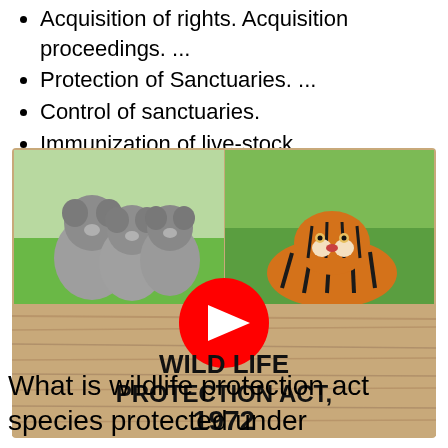Acquisition of rights. Acquisition proceedings. ...
Protection of Sanctuaries. ...
Control of sanctuaries.
Immunization of live-stock.
[Figure (screenshot): YouTube thumbnail showing koalas on the left, a tiger on the right, a YouTube play button in the center, and text 'WILD LIFE PROTECTION ACT, 1972' on a wooden background]
What is wildlife protection act species protected under